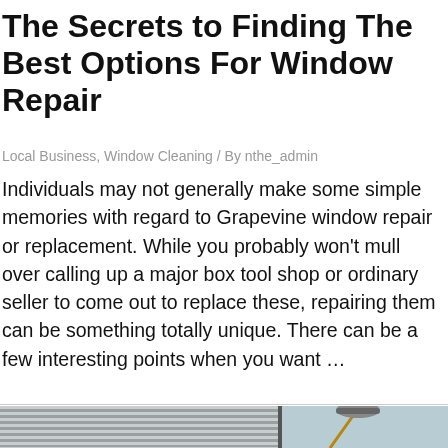The Secrets to Finding The Best Options For Window Repair
Local Business, Window Cleaning / By nthe_admin
Individuals may not generally make some simple memories with regard to Grapevine window repair or replacement. While you probably won't mull over calling up a major box tool shop or ordinary seller to come out to replace these, repairing them can be something totally unique. There can be a few interesting points when you want …
Read More »
[Figure (photo): Partial view of a building exterior with window cleaning equipment (mop/squeegee on a pole) visible against glass windows]